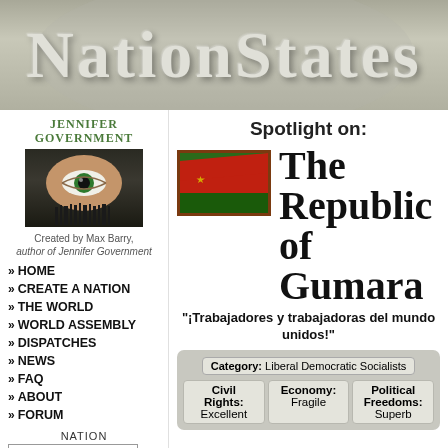NationStates
[Figure (logo): Jennifer Government book advertisement with eye image]
Created by Max Barry, author of Jennifer Government
HOME
CREATE A NATION
THE WORLD
WORLD ASSEMBLY
DISPATCHES
NEWS
FAQ
ABOUT
FORUM
Spotlight on:
[Figure (illustration): Flag of The Republic of Gumara - red and green with star]
The Republic of Gumara
"¡Trabajadores y trabajadoras del mundo unidos!"
| Category | Civil Rights | Economy | Political Freedoms |
| --- | --- | --- | --- |
| Liberal Democratic Socialists | Excellent | Fragile | Superb |